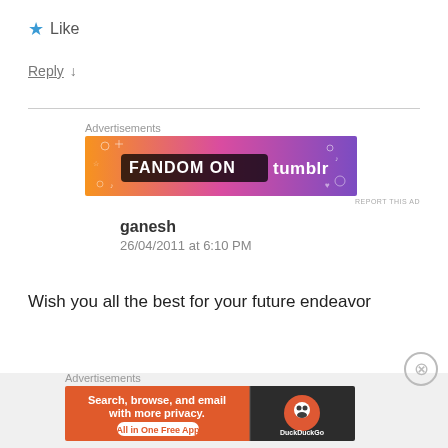★ Like
Reply ↓
[Figure (infographic): Fandom on Tumblr advertisement banner with orange-to-purple gradient background and white decorative doodles]
ganesh
26/04/2011 at 6:10 PM
Wish you all the best for your future endeavor
[Figure (infographic): DuckDuckGo advertisement: Search, browse, and email with more privacy. All in One Free App. Shows DuckDuckGo logo on dark background.]